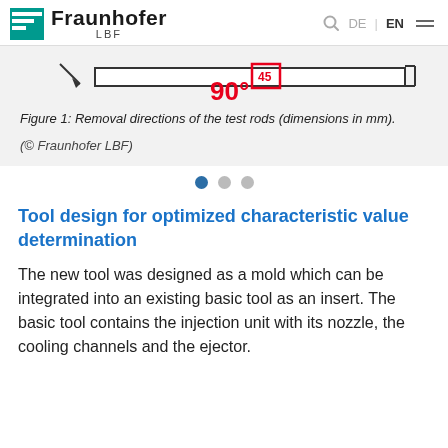Fraunhofer LBF | DE EN
[Figure (engineering-diagram): Engineering diagram showing removal directions of test rods with angle markings of 45° and 90°, with a rectangular bar shape and directional arrow.]
Figure 1: Removal directions of the test rods (dimensions in mm).
(© Fraunhofer LBF)
Tool design for optimized characteristic value determination
The new tool was designed as a mold which can be integrated into an existing basic tool as an insert. The basic tool contains the injection unit with its nozzle, the cooling channels and the ejector.